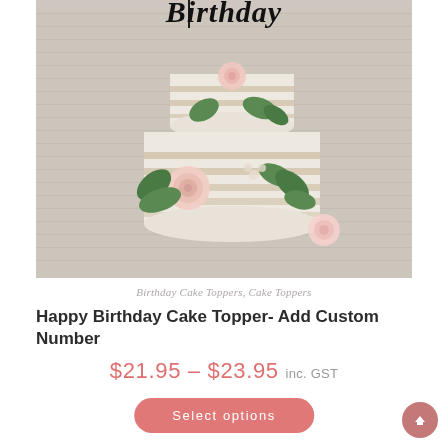[Figure (photo): A two-tiered naked cake decorated with pink ranunculus flowers and greenery, with a black 'Happy Birthday' cake topper. White brick wall background.]
Birthday Cake Toppers, Cake Toppers
Happy Birthday Cake Topper- Add Custom Number
$21.95 – $23.95 inc. GST
Select options